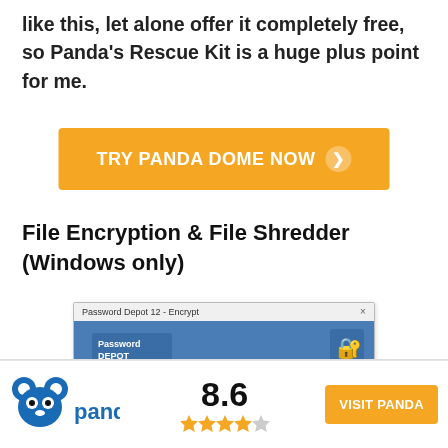like this, let alone offer it completely free, so Panda's Rescue Kit is a huge plus point for me.
[Figure (other): Orange call-to-action button reading TRY PANDA DOME NOW with a right-arrow circle icon]
File Encryption & File Shredder (Windows only)
[Figure (screenshot): Screenshot of Password Depot 12 Encrypt dialog with fields for Enter Password and Confirm Password (shown as dots), Show and Generate buttons, and a Quality progress bar showing green fill]
[Figure (logo): Panda logo: blue panda bear head icon with text panda in blue]
8.6
[Figure (other): 4 filled yellow stars and 1 half/grey star rating]
[Figure (other): Orange VISIT PANDA button]